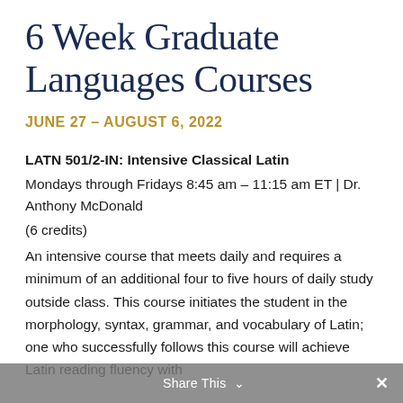6 Week Graduate Languages Courses
JUNE 27 – AUGUST 6, 2022
LATN 501/2-IN: Intensive Classical Latin
Mondays through Fridays 8:45 am – 11:15 am ET | Dr. Anthony McDonald
(6 credits)
An intensive course that meets daily and requires a minimum of an additional four to five hours of daily study outside class. This course initiates the student in the morphology, syntax, grammar, and vocabulary of Latin; one who successfully follows this course will achieve Latin reading fluency with
Share This